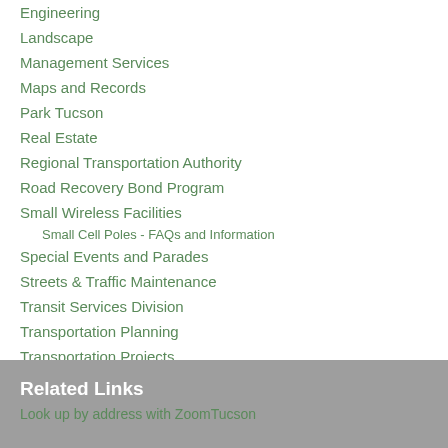Engineering
Landscape
Management Services
Maps and Records
Park Tucson
Real Estate
Regional Transportation Authority
Road Recovery Bond Program
Small Wireless Facilities
Small Cell Poles - FAQs and Information
Special Events and Parades
Streets & Traffic Maintenance
Transit Services Division
Transportation Planning
Transportation Projects
Related Links
Look up by address with ZoomTucson